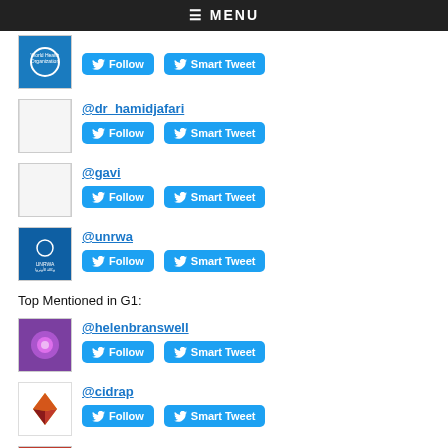≡ MENU
@dr_hamidjafari
@gavi
@unrwa
Top Mentioned in G1:
@helenbranswell
@cidrap
@newsfromscience